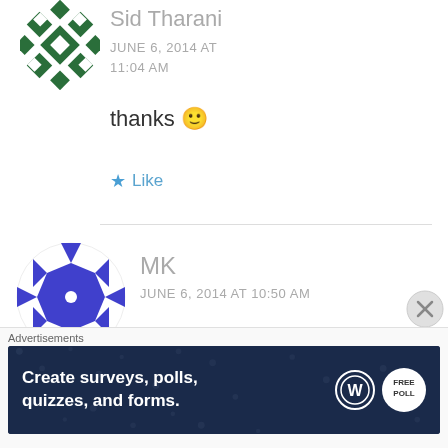[Figure (illustration): Green geometric diamond-pattern avatar for user Sid Tharani, partially cut off at top]
Sid Tharani
JUNE 6, 2014 AT 11:04 AM
thanks 🙂
★ Like
[Figure (illustration): Purple/white geometric circle avatar for user MK]
MK
JUNE 6, 2014 AT 10:50 AM
Upcoming Deal – 6th June, 11AM for MOTO G
Advertisements
[Figure (screenshot): Advertisement banner: dark navy background with polka dots, text 'Create surveys, polls, quizzes, and forms.' with WordPress and FreePolls logos]